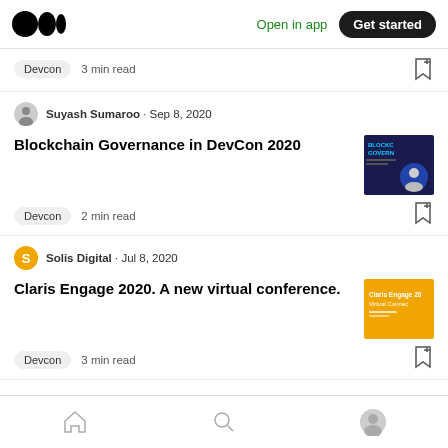Medium logo | Open in app | Get started
Devcon  3 min read
Suyash Sumaroo · Sep 8, 2020
Blockchain Governance in DevCon 2020
Devcon  2 min read
Solis Digital · Jul 8, 2020
Claris Engage 2020. A new virtual conference.
Devcon  3 min read
Home | Search | Profile